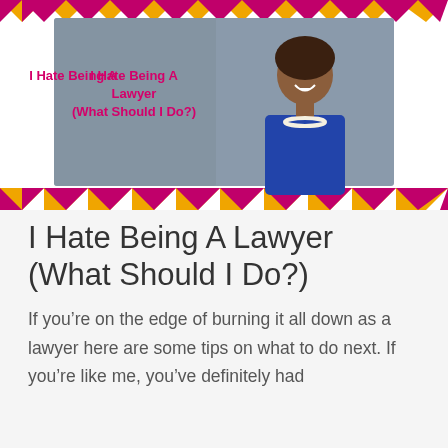[Figure (illustration): Blog post header banner with orange and magenta chevron/zigzag pattern background. In the center is a gray card with text 'I Hate Being A Lawyer (What Should I Do?)' in magenta bold font on the left side, and a professional photo of a smiling Black woman in a blue blazer and pearl necklace on the right side.]
I Hate Being A Lawyer (What Should I Do?)
If you’re on the edge of burning it all down as a lawyer here are some tips on what to do next. If you’re like me, you’ve definitely had